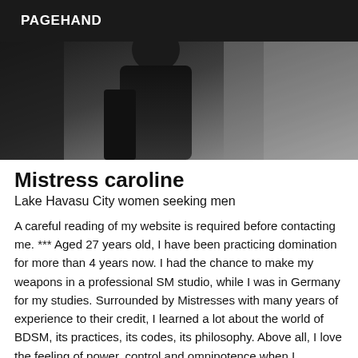PAGEHAND
[Figure (photo): Black and white photograph of a woman in dark clothing, partially visible, standing against a light background]
Mistress caroline
Lake Havasu City women seeking men
A careful reading of my website is required before contacting me. *** Aged 27 years old, I have been practicing domination for more than 4 years now. I had the chance to make my weapons in a professional SM studio, while I was in Germany for my studies. Surrounded by Mistresses with many years of experience to their credit, I learned a lot about the world of BDSM, its practices, its codes, its philosophy. Above all, I love the feeling of power, control and omnipotence when I humiliate or torture a submissive. Knowing that